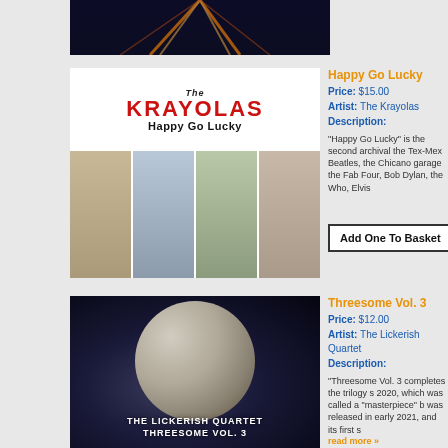[Figure (photo): Cropped top of a dark action/movie image with light streaks on dark background]
[Figure (photo): Album cover for The Krayolas 'Happy Go Lucky' showing four young men in photo strips on light blue background with white top panel showing band name in red and album title in black]
Happy Go Lucky
Price: $15.00
Artist: The Krayolas
Description:
“Happy Go Lucky” is the second archival the Tex-Mex Beatles, the Chicano garage the Fab Four, Bob Dylan, the Who, Elvis
Add One To Basket
[Figure (photo): Album cover for The Lickerish Quartet 'Threesome Vol. 3' showing a large moon against dark starry space background]
Threesome Vol. 3
Price: $12.00
Artist: The Lickerish Quartet
Description:
“Threesome Vol. 3 completes the trilogy s 2020, which was called a “masterpiece” b was released in early 2021, and its first s
read more »